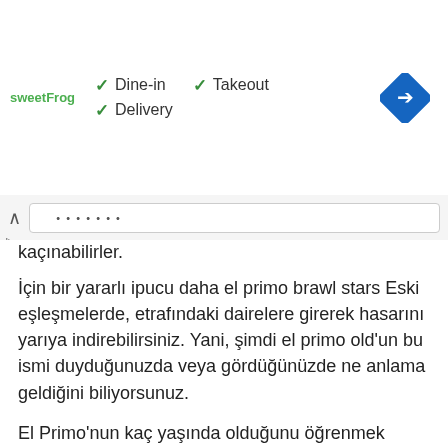[Figure (screenshot): Advertisement banner for sweetFrog restaurant showing dine-in, takeout, delivery options with green checkmarks, and a blue navigation diamond icon on the right]
[Figure (screenshot): Browser UI bar with caret-up, URL bar, play and X icons]
kaçınabilirler.
İçin bir yararlı ipucu daha el primo brawl stars Eski eşleşmelerde, etrafındaki dairelere girerek hasarını yarıya indirebilirsiniz. Yani, şimdi el primo old'un bu ismi duyduğunuzda veya gördüğünüzde ne anlama geldiğini biliyorsunuz.
El Primo'nun kaç yaşında olduğunu öğrenmek istediysen. Brawl Stars, Aralık 2017'de oyuna eklendi.
boğa: